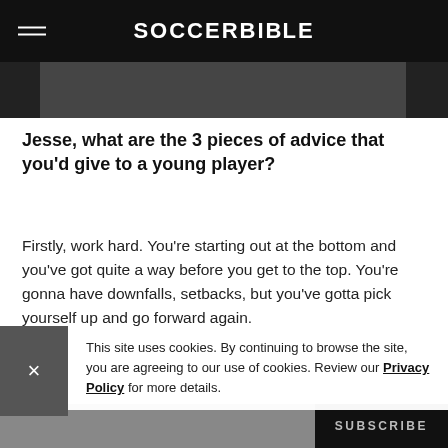SOCCERBIBLE
[Figure (photo): Dark photograph image strip at top of article]
Jesse, what are the 3 pieces of advice that you'd give to a young player?
Firstly, work hard. You're starting out at the bottom and you've got quite a way before you get to the top. You're gonna have downfalls, setbacks, but you've gotta pick yourself up and go forward again.
This site uses cookies. By continuing to browse the site, you are agreeing to our use of cookies. Review our Privacy Policy for more details.
SUBSCRIBE